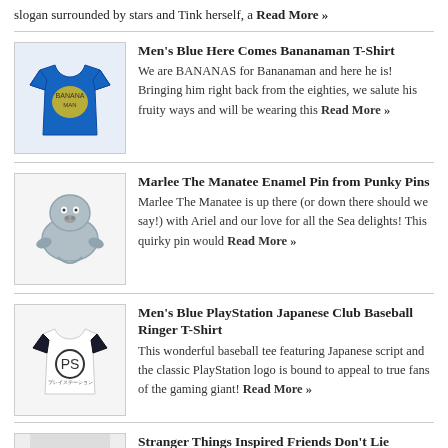slogan surrounded by stars and Tink herself, a Read More »
Men's Blue Here Comes Bananaman T-Shirt
We are BANANAS for Bananaman and here he is! Bringing him right back from the eighties, we salute his fruity ways and will be wearing this Read More »
[Figure (photo): Blue Bananaman T-shirt product image]
Marlee The Manatee Enamel Pin from Punky Pins
Marlee The Manatee is up there (or down there should we say!) with Ariel and our love for all the Sea delights! This quirky pin would Read More »
[Figure (photo): Marlee The Manatee enamel pin product image]
Men's Blue PlayStation Japanese Club Baseball Ringer T-Shirt
This wonderful baseball tee featuring Japanese script and the classic PlayStation logo is bound to appeal to true fans of the gaming giant! Read More »
[Figure (photo): PlayStation Japanese Club Baseball Ringer T-Shirt product image]
Stranger Things Inspired Friends Don't Lie Enamel Pin from Punky Pins
[Figure (photo): Stranger Things pin product image]